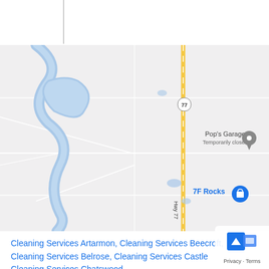[Figure (map): Google Maps screenshot showing a rural area with a winding river on the left side, a yellow highway (Hwy 77) running vertically, Pop's Garage (Temporarily closed) marked with a gray pin, 7F Rocks marked with a blue shopping bag pin, and road 77 shield marker. Grid lines divide the map into quadrants.]
Cleaning Services Artarmon, Cleaning Services Beecroft, Cleaning Services Belrose, Cleaning Services Castle..., Cleaning Services Chatswood